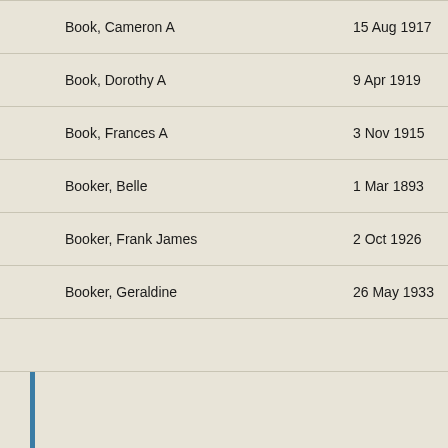| Name | Date |
| --- | --- |
| Book, Cameron A | 15 Aug 1917 |
| Book, Dorothy A | 9 Apr 1919 |
| Book, Frances A | 3 Nov 1915 |
| Booker, Belle | 1 Mar 1893 |
| Booker, Frank James | 2 Oct 1926 |
| Booker, Geraldine | 26 May 1933 |